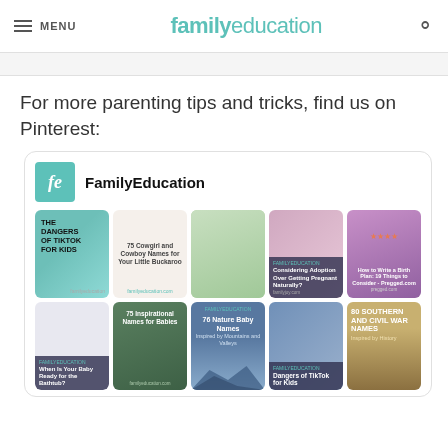MENU | familyeducation
For more parenting tips and tricks, find us on Pinterest:
[Figure (screenshot): Pinterest profile embed for FamilyEducation showing a grid of pinned articles including: The Dangers of TikTok for Kids, 75 Cowgirl and Cowboy Names for Your Little Buckaroo, children studying photo, Settling into the First Few Weeks of Preschool, Considering Adoption Over Getting Pregnant Naturally?, How to Write a Birth Plan: 19 Things to Consider - Pregged.com, baby photo, 75 Inspirational Names for Babies, 76 Nature Baby Names Inspired by Mountains and Valleys, child with parent photo, Dangers of TikTok for Kids, 80 Southern and Civil War Names Inspired by History, When Is Your Baby Ready for the Bathtub?]